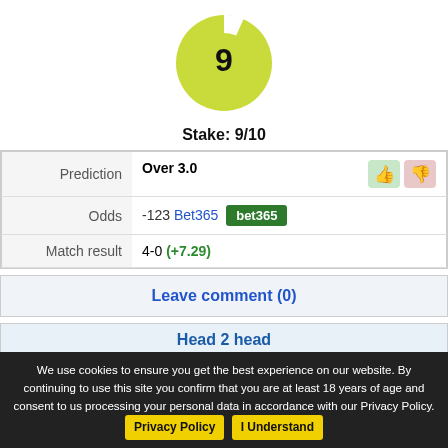[Figure (donut-chart): Stake: 9/10]
Stake: 9/10
|  |  |
| --- | --- |
| Prediction | Over 3.0 |
| Odds | -123 Bet365 bet365 |
| Match result | 4-0 (+7.29) |
Leave comment (0)
Head 2 head
| Date | Match | Result | League |
| --- | --- | --- | --- |
| 25.04.22 | KR - Breidablik | 0-1 | Urval |
| 18.07.21 | KR - Breidablik | 1-1 | Urval |
| 02.05.21 | Breidablik - KR | 0-2 | Urval |
We use cookies to ensure you get the best experience on our website. By continuing to use this site you confirm that you are at least 18 years of age and consent to us processing your personal data in accordance with our Privacy Policy. Privacy Policy  I Understand